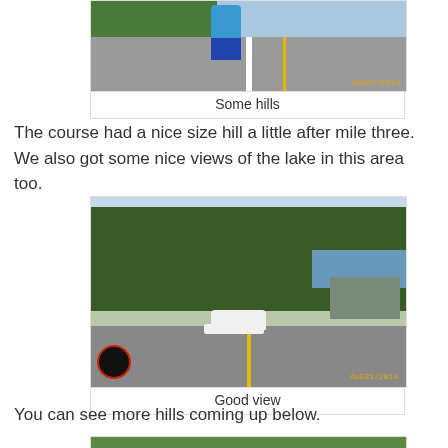[Figure (photo): Partial view of a runner on a road with hills, timestamp AUG21/2014 in orange]
Some hills
The course had a nice size hill a little after mile three.  We also got some nice views of the lake in this area too.
[Figure (photo): View of a tree-lined road with a white car parked, lake visible in background, Detroit Runners logo watermark, timestamp in orange]
Good view
You can see more hills coming up below.
[Figure (photo): Partially visible photo at bottom of page showing trees and hills]